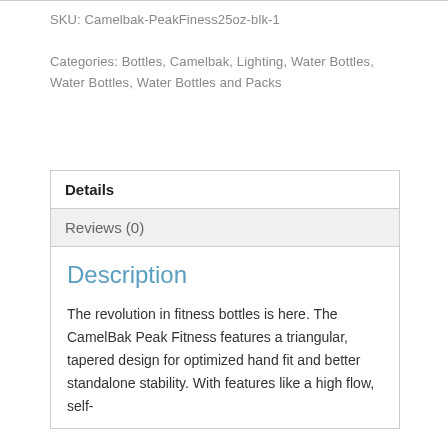SKU: Camelbak-PeakFiness25oz-blk-1
Categories: Bottles, Camelbak, Lighting, Water Bottles, Water Bottles, Water Bottles and Packs
Details
Reviews (0)
Description
The revolution in fitness bottles is here. The CamelBak Peak Fitness features a triangular, tapered design for optimized hand fit and better standalone stability. With features like a high flow, self-